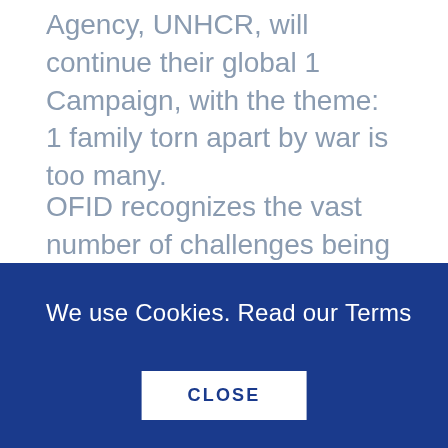...World Refugee Day 2014, the UN Refugee Agency, UNHCR, will continue their global 1 Campaign, with the theme: 1 family torn apart by war is too many.
OFID recognizes the vast number of challenges being faced by refugees worldwide, and has extended numerous grants to help provide medical and hygiene items, healthcare services, food and drinking water supplies, among other urgently-needed items. This assistance has also helped host communities that themselves have limited resources and insufficient facilities for accommodating the vast influx of refugee populations.
The assistance has also helped...
We use Cookies. Read our Terms
CLOSE